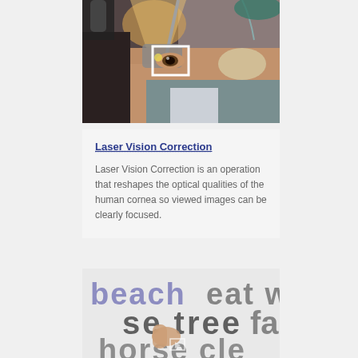[Figure (photo): Medical photo of a patient undergoing laser eye surgery, with a surgeon holding a device over the patient's eye, and a white square overlay highlighting the eye area.]
Laser Vision Correction
Laser Vision Correction is an operation that reshapes the optical qualities of the human cornea so viewed images can be clearly focused.
[Figure (photo): Close-up blurred photo showing someone pointing at large text on a page, with partially visible words including 'beach', 'eat w', 'se tree', 'fa', 'horse', suggesting a vision/reading test scenario.]